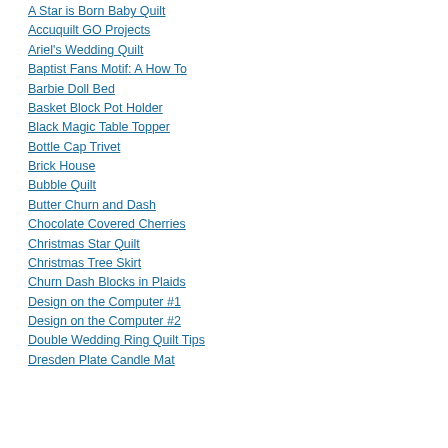A Star is Born Baby Quilt
Accuquilt GO Projects
Ariel's Wedding Quilt
Baptist Fans Motif: A How To
Barbie Doll Bed
Basket Block Pot Holder
Black Magic Table Topper
Bottle Cap Trivet
Brick House
Bubble Quilt
Butter Churn and Dash
Chocolate Covered Cherries
Christmas Star Quilt
Christmas Tree Skirt
Churn Dash Blocks in Plaids
Design on the Computer #1
Design on the Computer #2
Double Wedding Ring Quilt Tips
Dresden Plate Candle Mat